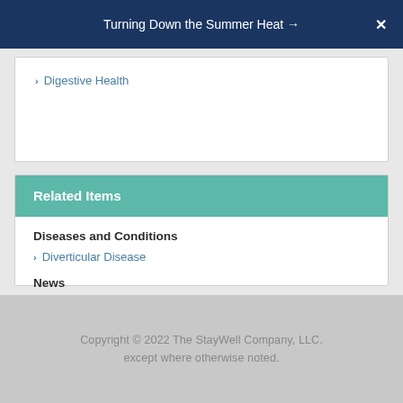Turning Down the Summer Heat →
Digestive Health
Related Items
Diseases and Conditions
Diverticular Disease
News
Pope Leaves Hospital 10 Days After Colon Surgery
Videos
Diverticulitis
Copyright © 2022 The StayWell Company, LLC. except where otherwise noted.